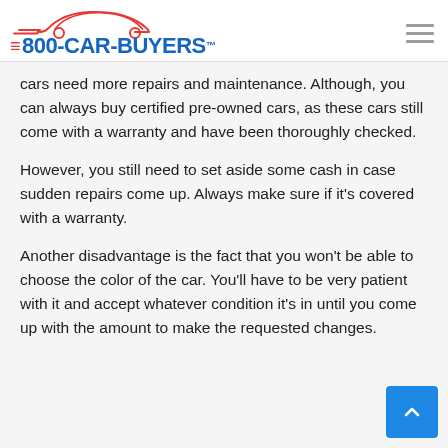800-CAR-BUYERS logo and navigation
cars need more repairs and maintenance. Although, you can always buy certified pre-owned cars, as these cars still come with a warranty and have been thoroughly checked.
However, you still need to set aside some cash in case sudden repairs come up. Always make sure if it's covered with a warranty.
Another disadvantage is the fact that you won't be able to choose the color of the car. You'll have to be very patient with it and accept whatever condition it's in until you come up with the amount to make the requested changes.